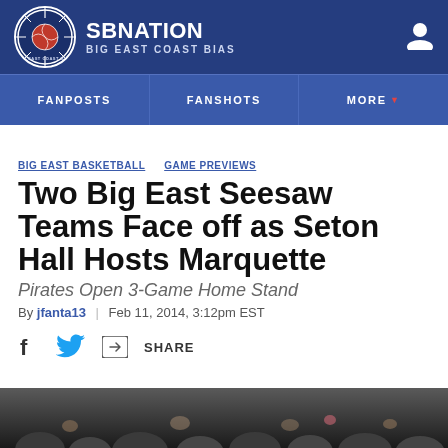SBNATION BIG EAST COAST BIAS
FANPOSTS | FANSHOTS | MORE
BIG EAST BASKETBALL  GAME PREVIEWS
Two Big East Seesaw Teams Face off as Seton Hall Hosts Marquette
Pirates Open 3-Game Home Stand
By jfanta13 | Feb 11, 2014, 3:12pm EST
SHARE
[Figure (photo): Crowd photo at bottom of page, dark image showing audience]